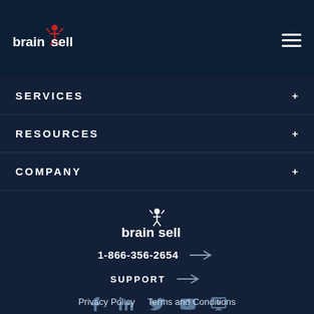[Figure (logo): BrainSell logo top-left in header navigation bar]
SERVICES +
RESOURCES +
COMPANY +
[Figure (logo): BrainSell logo centered in lower section]
1-866-356-2654 →
SUPPORT →
[Figure (other): Social media icons: Facebook, LinkedIn, Twitter, YouTube, SlideShare]
Privacy Policy   Terms and Conditions